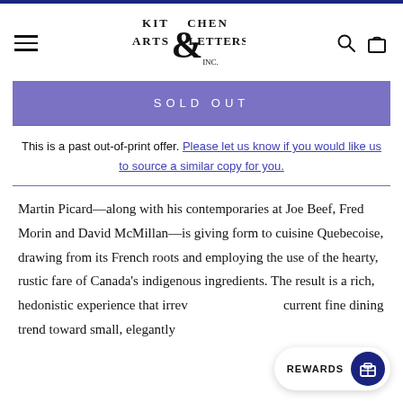Kitchen Arts & Letters Inc.
SOLD OUT
This is a past out-of-print offer. Please let us know if you would like us to source a similar copy for you.
Martin Picard—along with his contemporaries at Joe Beef, Fred Morin and David McMillan—is giving form to cuisine Quebecoise, drawing from its French roots and employing the use of the hearty, rustic fare of Canada's indigenous ingredients. The result is a rich, hedonistic experience that irrev... current fine dining trend toward small, elegantly